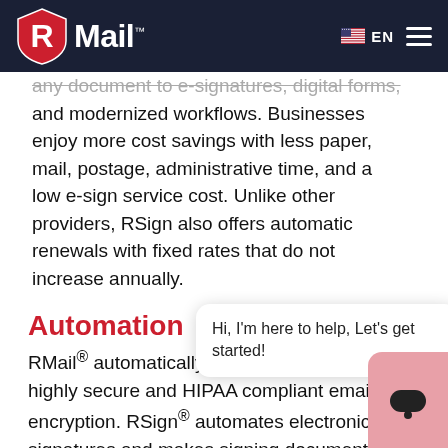RMail EN
any document to e-signatures, digital forms, and modernized workflows. Businesses enjoy more cost savings with less paper, mail, postage, administrative time, and a low e-sign service cost. Unlike other providers, RSign also offers automatic renewals with fixed rates that do not increase annually.
Automation
RMail® automatically determines the simplest, highly secure and HIPAA compliant email encryption. RSign® automates electronic signatures and makes signing documents and filling forms easier and more efficient.